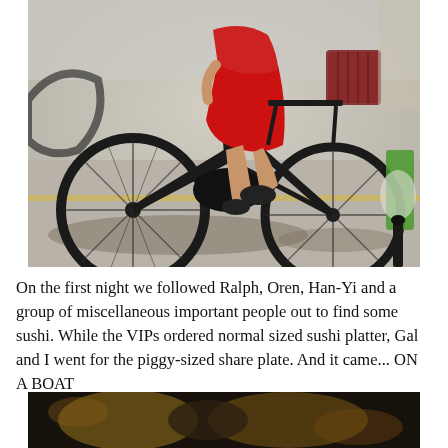[Figure (photo): Close-up street photo of a person wearing a red outfit riding a bicycle on a city street. The bicycle has large wheels and a rear basket. Sunlight casts shadows on the pavement. A green object and plastic bag are visible on the right side.]
On the first night we followed Ralph, Oren, Han-Yi and a group of miscellaneous important people out to find some sushi. While the VIPs ordered normal sized sushi platter, Gal and I went for the piggy-sized share plate. And it came... ON A BOAT
[Figure (photo): Blurred close-up photo, appears to show dark and golden/amber colored objects, likely related to food or restaurant setting.]